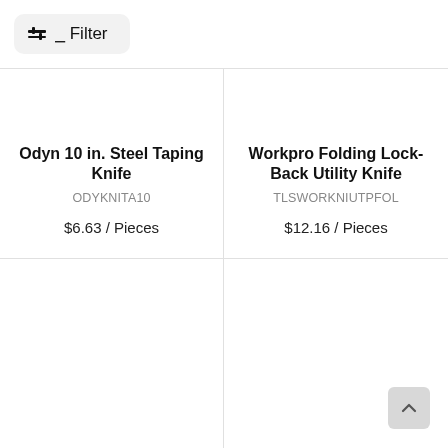Filter
Odyn 10 in. Steel Taping Knife
ODYKNITA10
$6.63 / Pieces
Workpro Folding Lock-Back Utility Knife
TLSWORKNIUTPFOL
$12.16 / Pieces